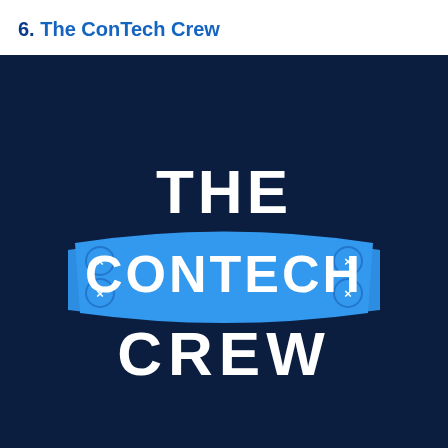6. The ConTech Crew
[Figure (logo): The ConTech Crew logo: white bold text 'THE' above a curved blue banner with 'CONTECH' in white bold letters with circuit-board styling, and 'CREW' in white bold letters below, all on a dark navy background.]